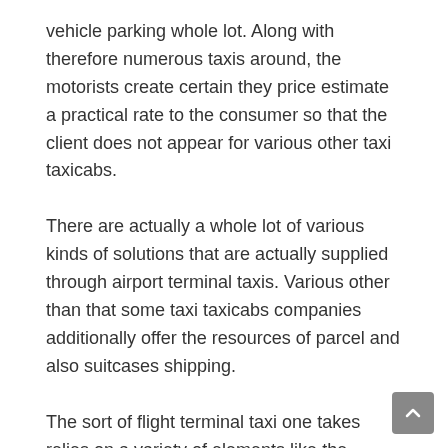vehicle parking whole lot. Along with therefore numerous taxis around, the motorists create certain they price estimate a practical rate to the consumer so that the client does not appear for various other taxi taxicabs.
There are actually a whole lot of various kinds of solutions that are actually supplied through airport terminal taxis. Various other than that some taxi taxicabs companies additionally offer the resources of parcel and also suitcases shipping.
The sort of flight terminal taxi one takes relies on a variety of elements like the amount of guests, travel luggage demand etc. Where the variety of travelers depend on 4, one can easily tap the services of either deluxe community auto sedans or even exec Grand Marquis and also Dental Crown Victorias. Luxurious Lincoln city automobile sedans feature components like shaded home windows, fee stereo, deluxe natural leather inside and also auto weather management.